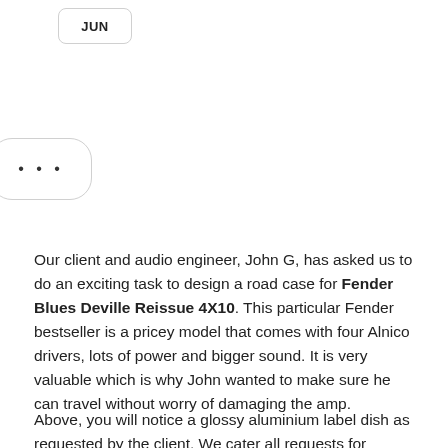[Figure (other): A rounded rectangle button/badge with text 'JUN' inside]
[Figure (other): A rounded rectangle speech bubble or UI element with three dots '...' inside]
Our client and audio engineer, John G, has asked us to do an exciting task to design a road case for Fender Blues Deville Reissue 4X10. This particular Fender bestseller is a pricey model that comes with four Alnico drivers, lots of power and bigger sound. It is very valuable which is why John wanted to make sure he can travel without worry of damaging the amp.
Above, you will notice a glossy aluminium label dish as requested by the client. We cater all requests for personalisation for branding